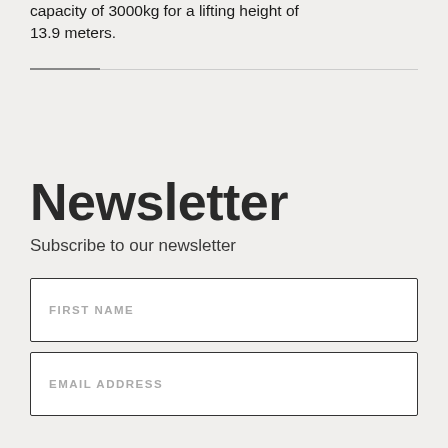capacity of 3000kg for a lifting height of 13.9 meters. of
Newsletter
Subscribe to our newsletter
FIRST NAME
EMAIL ADDRESS